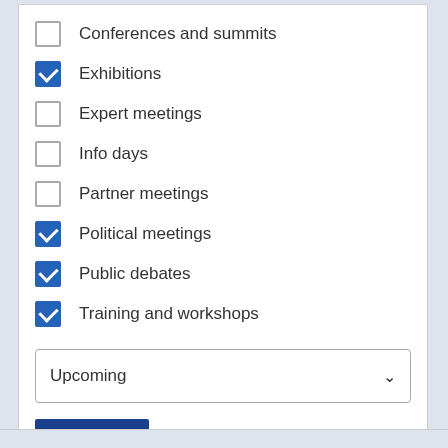Conferences and summits (unchecked)
Exhibitions (checked)
Expert meetings (unchecked)
Info days (unchecked)
Partner meetings (unchecked)
Political meetings (checked)
Public debates (checked)
Training and workshops (checked)
Upcoming (dropdown)
Apply